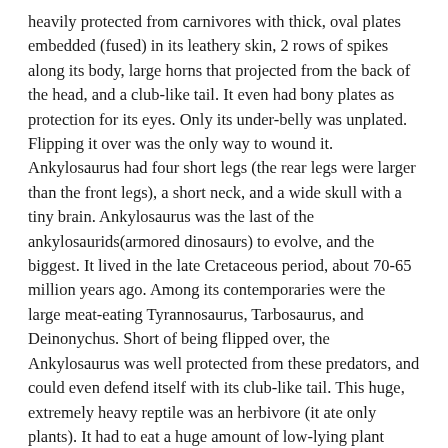heavily protected from carnivores with thick, oval plates embedded (fused) in its leathery skin, 2 rows of spikes along its body, large horns that projected from the back of the head, and a club-like tail. It even had bony plates as protection for its eyes. Only its under-belly was unplated. Flipping it over was the only way to wound it. Ankylosaurus had four short legs (the rear legs were larger than the front legs), a short neck, and a wide skull with a tiny brain. Ankylosaurus was the last of the ankylosaurids(armored dinosaurs) to evolve, and the biggest. It lived in the late Cretaceous period, about 70-65 million years ago. Among its contemporaries were the large meat-eating Tyrannosaurus, Tarbosaurus, and Deinonychus. Short of being flipped over, the Ankylosaurus was well protected from these predators, and could even defend itself with its club-like tail. This huge, extremely heavy reptile was an herbivore (it ate only plants). It had to eat a huge amount of low-lying plant material to sustain itself so its gut must have been very large. It probably had a fermentation compartment to aid in the digestion of the tough plant material, producing prodigious amounts of gas! Ankylosaurus was however a dumb, dinosaur, whose IQ, was